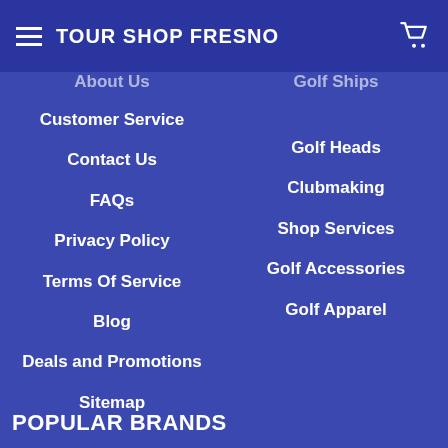TOUR SHOP FRESNO
About Us
Golf Ships
Customer Service
Golf Heads
Contact Us
Clubmaking
FAQs
Shop Services
Privacy Policy
Golf Accessories
Terms Of Service
Golf Apparel
Blog
Deals and Promotions
Sitemap
POPULAR BRANDS